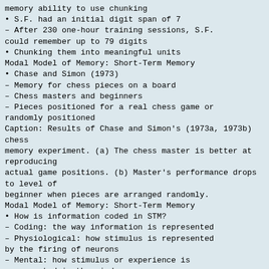memory ability to use chunking
• S.F. had an initial digit span of 7
– After 230 one-hour training sessions, S.F. could remember up to 79 digits
• Chunking them into meaningful units
Modal Model of Memory: Short-Term Memory
• Chase and Simon (1973)
– Memory for chess pieces on a board
– Chess masters and beginners
– Pieces positioned for a real chess game or randomly positioned
Caption: Results of Chase and Simon's (1973a, 1973b) chess memory experiment. (a) The chess master is better at reproducing actual game positions. (b) Master's performance drops to level of beginner when pieces are arranged randomly.
Modal Model of Memory: Short-Term Memory
• How is information coded in STM?
– Coding: the way information is represented
– Physiological: how stimulus is represented by the firing of neurons
– Mental: how stimulus or experience is represented in the mind
Modal Model of Memory: Short-Term Memory
• Auditory coding – Conrad (1964)
– Participants briefly saw target letters and were asked to write them down
– Errors most often occurred with letters that sounded alike
– STM is auditory
Modal Model of Memory: Short-Term Memory